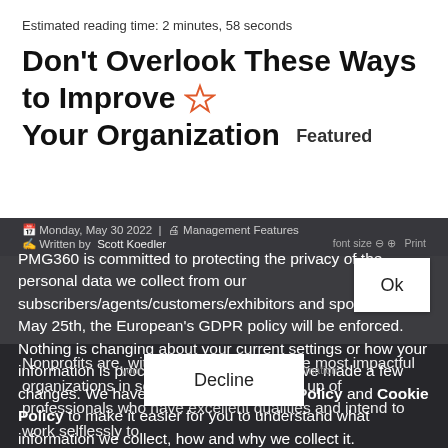Estimated reading time: 2 minutes, 58 seconds
Don't Overlook These Ways to Improve Your Organization Featured
Monday, May 30 2022 | Management Features | Written by Scott Koedler
PMG360 is committed to protecting the privacy of the personal data we collect from our subscribers/agents/customers/exhibitors and sponsors. On May 25th, the European's GDPR policy will be enforced. Nothing is changing about your current settings or how your information is processed, however, we have made a few changes. We have updated our Privacy Policy and Cookie Policy to make it easier for you to understand what information we collect, how and why we collect it.
Ok
Nonprofits are, without a doubt, among the most impactful organizations in society. They are made up of professionals who have excellent qualities and intend to work selflessly to
Decline